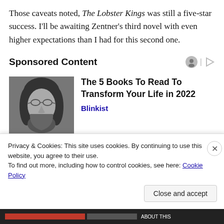Those caveats noted, The Lobster Kings was still a five-star success. I'll be awaiting Zentner's third novel with even higher expectations than I had for this second one.
Sponsored Content
[Figure (photo): Black and white portrait photo of a young man with long hair and round glasses]
The 5 Books To Read To Transform Your Life in 2022
Blinkist
[Figure (photo): Partially visible colorful image for second ad item]
Quiz: Match The Disney Song
Privacy & Cookies: This site uses cookies. By continuing to use this website, you agree to their use.
To find out more, including how to control cookies, see here: Cookie Policy
Close and accept